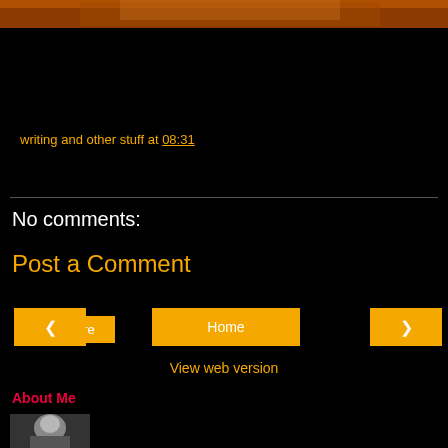[Figure (photo): Top banner image with warm orange/brown tones, appears to be a decorative header image for a blog]
writing and other stuff at 08:31
Share
No comments:
Post a Comment
‹
Home
›
View web version
About Me
[Figure (photo): Profile photo thumbnail of a person with light hair]
writing and other stuff